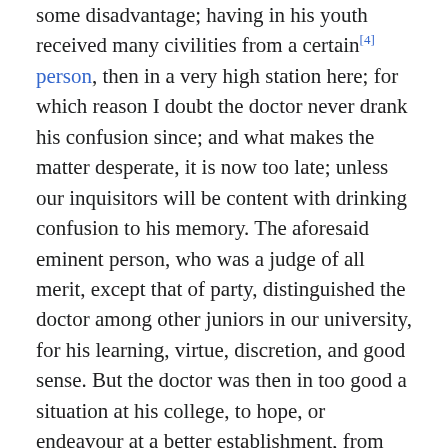some disadvantage; having in his youth received many civilities from a certain[4] person, then in a very high station here; for which reason I doubt the doctor never drank his confusion since; and what makes the matter desperate, it is now too late; unless our inquisitors will be content with drinking confusion to his memory. The aforesaid eminent person, who was a judge of all merit, except that of party, distinguished the doctor among other juniors in our university, for his learning, virtue, discretion, and good sense. But the doctor was then in too good a situation at his college, to hope, or endeavour at a better establishment, from one who had no power to give it him.
Upon the present lord lieutenant's coming over, the doctor was named to his excellency by a friend[5] among other clergy of distinction, as persons whose characters it was proper his excellency should know, and by the truth of which the giver would be content to stand or fall in his